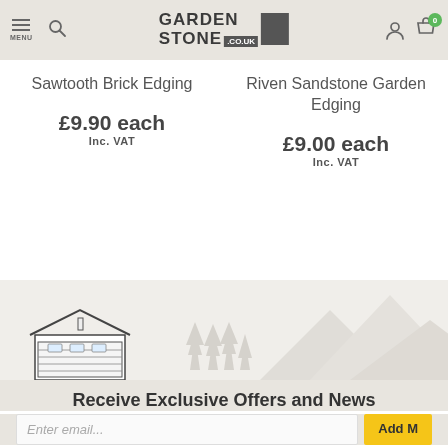MENU | Search | GARDEN STONE .CO.UK | User | Cart (0)
Sawtooth Brick Edging
£9.90 each
Inc. VAT
Riven Sandstone Garden Edging
£9.00 each
Inc. VAT
[Figure (illustration): Banner illustration with a garage building icon on the left, stylized pine trees in the center, and mountain silhouettes on the right, on a light beige background]
Receive Exclusive Offers and News
Enter email...